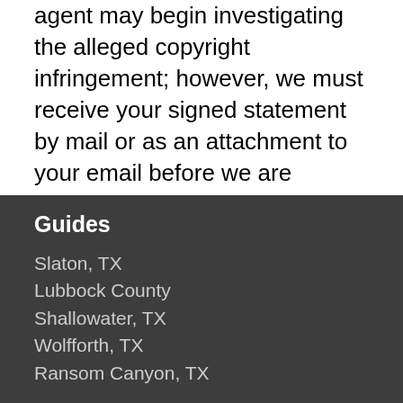agent may begin investigating the alleged copyright infringement; however, we must receive your signed statement by mail or as an attachment to your email before we are required to take any action.
This information should not be construed as legal advice. We recommend you seek independent legal counsel before filing a notification or counternotification. For further information about the DMCA, please visit the website of the United States Copyright Office at: http://www.copyright.gov/onlinesp.
Guides
Slaton, TX
Lubbock County
Shallowater, TX
Wolfforth, TX
Ransom Canyon, TX